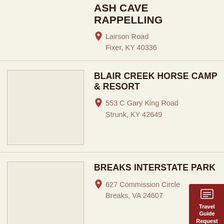ASH CAVE RAPPELLING
Lairson Road
Fixer, KY 40336
BLAIR CREEK HORSE CAMP & RESORT
553 C Gary King Road
Strunk, KY 42649
BREAKS INTERSTATE PARK
627 Commission Circle
Breaks, VA 24607